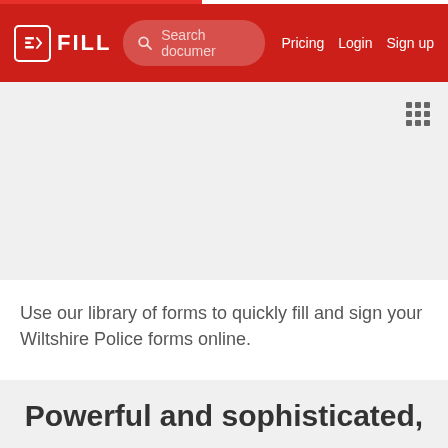FILL — Search documents — Pricing Login Sign up
Use our library of forms to quickly fill and sign your Wiltshire Police forms online.
Powerful and sophisticated,